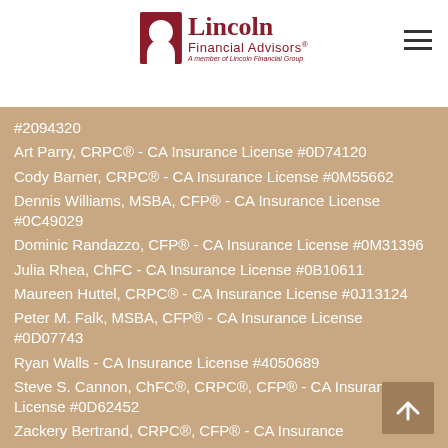Lincoln Financial Advisors — A member of Lincoln Financial Group
#2094320
Art Parry, CRPC® - CA Insurance License #0D74120
Cody Barner, CRPC® - CA Insurance License #0M55662
Dennis Williams, MSBA, CFP® - CA Insurance License #0C49029
Dominic Randazzo, CFP® - CA Insurance License #0M31396
Julia Rhea, ChFC - CA Insurance License #0B10611
Maureen Huttel, CRPC® - CA Insurance License #0J13124
Peter M. Falk, MSBA, CFP® - CA Insurance License #0D07743
Ryan Walls - CA Insurance License #4050689
Steve S. Cannon, ChFC®, CRPC®, CFP® - CA Insurance License #0D62452
Zackery Bertrand, CRPC®, CFP® - CA Insurance License #0K33314